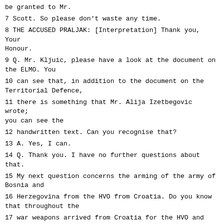be granted to Mr.
7 Scott. So please don't waste any time.
8 THE ACCUSED PRALJAK: [Interpretation] Thank you, Your Honour.
9 Q. Mr. Kljuic, please have a look at the document on the ELMO. You
10 can see that, in addition to the document on the Territorial Defence,
11 there is something that Mr. Alija Izetbegovic wrote; you can see the
12 handwritten text. Can you recognise that?
13 A. Yes, I can.
14 Q. Thank you. I have no further questions about that.
15 My next question concerns the arming of the army of Bosnia and
16 Herzegovina from the HVO from Croatia. Do you know that throughout the
17 war weapons arrived from Croatia for the HVO and for the army of Bosnia